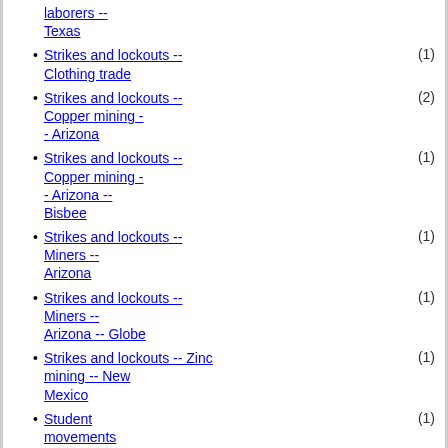laborers -- Texas
Strikes and lockouts -- Clothing trade (1)
Strikes and lockouts -- Copper mining -- Arizona (2)
Strikes and lockouts -- Copper mining -- Arizona -- Bisbee (1)
Strikes and lockouts -- Miners -- Arizona (1)
Strikes and lockouts -- Miners -- Arizona -- Globe (1)
Strikes and lockouts -- Zinc mining -- New Mexico (1)
Student movements (1)
Student movements -- (1)